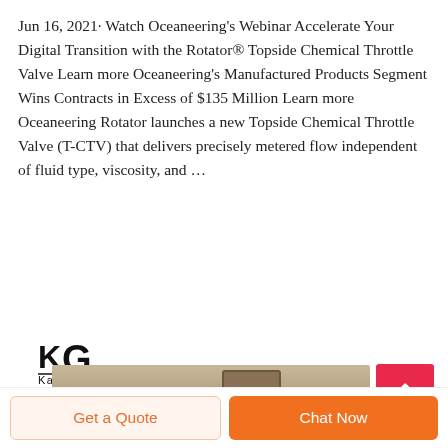Jun 16, 2021· Watch Oceaneering's Webinar Accelerate Your Digital Transition with the Rotator® Topside Chemical Throttle Valve Learn more Oceaneering's Manufactured Products Segment Wins Contracts in Excess of $135 Million Learn more Oceaneering Rotator launches a new Topside Chemical Throttle Valve (T-CTV) that delivers precisely metered flow independent of fluid type, viscosity, and …
[Figure (logo): Kangaro logo with stylized KG letters and brand name Kangaro with registered trademark symbol]
[Figure (photo): Partial view of a khaki/tan colored garment showing a cargo pocket detail]